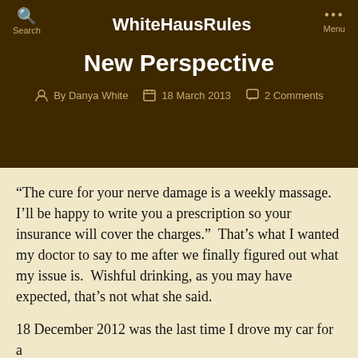WhiteHausRules
New Perspective
By Danya White   18 March 2013   2 Comments
“The cure for your nerve damage is a weekly massage.  I’ll be happy to write you a prescription so your insurance will cover the charges.”  That’s what I wanted my doctor to say to me after we finally figured out what my issue is.  Wishful drinking, as you may have expected, that’s not what she said.
18 December 2012 was the last time I drove my car for a